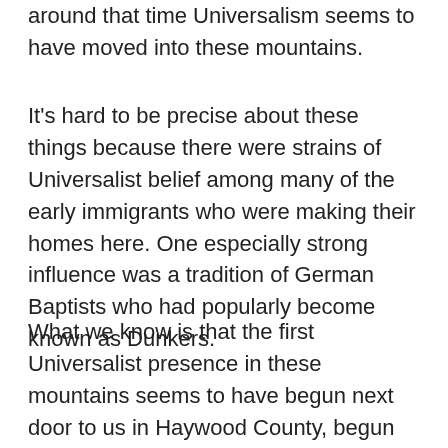around that time Universalism seems to have moved into these mountains.
It's hard to be precise about these things because there were strains of Universalist belief among many of the early immigrants who were making their homes here. One especially strong influence was a tradition of German Baptists who had popularly become known as Dunkers.
What we know is that the first Universalist presence in these mountains seems to have begun next door to us in Haywood County, begun by a man by the name of Jonathan Plott. Plott had come here to serve as the first teacher at Bethel Community School. He was of German heritage and may have grown up a